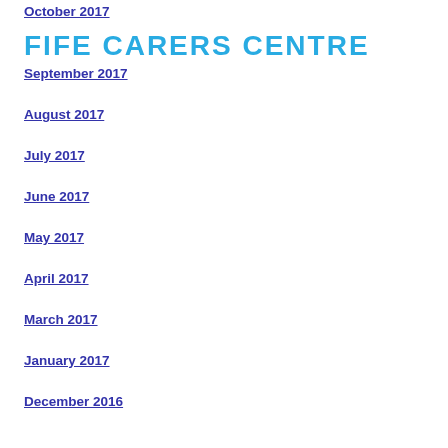October 2017
FIFE CARERS CENTRE
September 2017
August 2017
July 2017
June 2017
May 2017
April 2017
March 2017
January 2017
December 2016
November 2016
October 2016
September 2016
August 2016
June 2016
Categories
All
RSS Feed